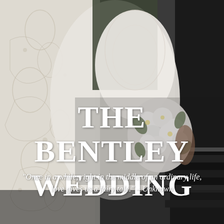[Figure (photo): Wedding photo of bride and groom. Bride is in a white lace gown holding a white floral bouquet, groom in dark suit. A lace veil is visible on the left. Background is dark stairs/architectural element.]
THE BENTLEY WEDDING
"Once in a while, right in the middle of an ordinary life, love gives us a fairy tale." – Unknown